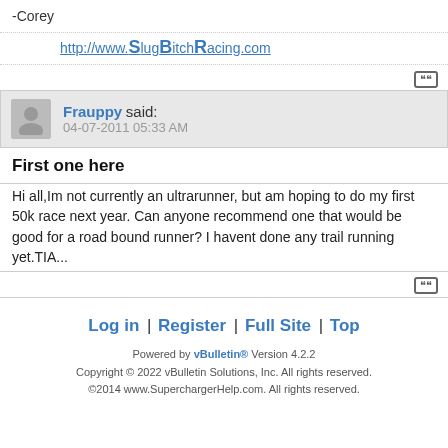-Corey
http://www.SlugBitchRacing.com
Frauppy said: 04-07-2011 05:33 AM
First one here
Hi all,Im not currently an ultrarunner, but am hoping to do my first 50k race next year. Can anyone recommend one that would be good for a road bound runner? I havent done any trail running yet.TIA...
Log in | Register | Full Site | Top
Powered by vBulletin® Version 4.2.2
Copyright © 2022 vBulletin Solutions, Inc. All rights reserved.
©2014 www.SuperchargerHelp.com. All rights reserved.